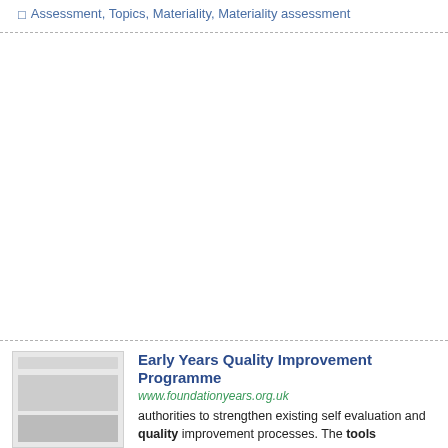Assessment, Topics, Materiality, Materiality assessment
[Figure (screenshot): Thumbnail screenshot of a document page, small logo and text blocks visible]
Early Years Quality Improvement Programme
www.foundationyears.org.uk
authorities to strengthen existing self evaluation and quality improvement processes. The tools